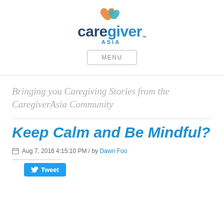[Figure (logo): CaregiverAsia logo with two heart shapes (orange and teal) above stylized text reading 'caregiver ASIA' with trademark symbol]
MENU
Bringing you Caregiving Stories from the CaregiverAsia Community
Keep Calm and Be Mindful?
Aug 7, 2016 4:15:10 PM / by Dawn Foo
Tweet